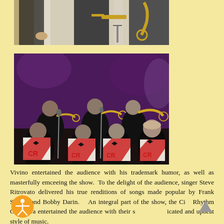[Figure (photo): Top cropped photo showing musicians in formal attire on stage, with brass instruments visible including a trombone and saxophone, in front of a light-colored backdrop.]
[Figure (photo): Photo of a jazz big band orchestra on stage performing. Multiple musicians in tuxedos playing brass instruments including trumpets and trombones. Music stands with 'CR' logo visible in foreground. Purple curtain backdrop with stage lighting.]
Vivino entertained the audience with his trademark humor, as well as masterfully emceeing the show.  To the delight of the audience, singer Steve Ritrovato delivered his true renditions of songs made popular by Frank Sinatra and Bobby Darin.    An integral part of the show, the City Rhythm Orchestra entertained the audience with their sophisticated and upbeat style of music.